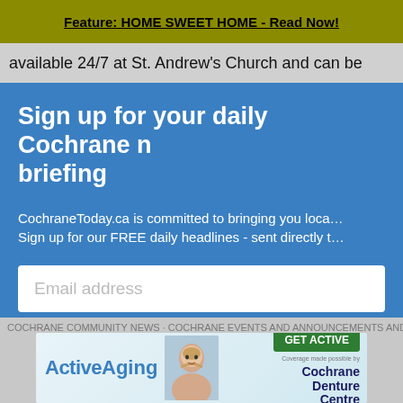Feature: HOME SWEET HOME - Read Now!
available 24/7 at St. Andrew's Church and can be
Sign up for your daily Cochrane news briefing
CochraneToday.ca is committed to bringing you local news. Sign up for our FREE daily headlines - sent directly to your inbox.
Email address
Don't worry: we won't share your information with anyone, and you can unsubscribe at any time.
[Figure (infographic): ActiveAging advertisement banner with Cochrane Denture Centre branding, GET ACTIVE button, and photo of smiling elderly person]